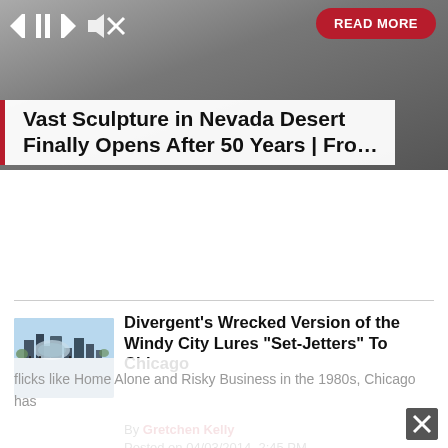[Figure (screenshot): Media player / article banner with gray textured background, play/pause/skip/mute controls top-left, red READ MORE pill button top-right]
Vast Sculpture in Nevada Desert Finally Opens After 50 Years | Fro...
[Figure (photo): Thumbnail photo of Chicago skyline with reflective Bean sculpture and blue sky]
Divergent's Wrecked Version of the Windy City Lures “Set-Jetters” To Chicago
By Gretchen Kelly
Posted on 04/03/2014, 2:45 PM
Chicago has always been an iconic city in American movies. From ’30s gangster films to John Hughes’ feel good teen flicks like Home Alone and Risky Business in the 1980s, Chicago has